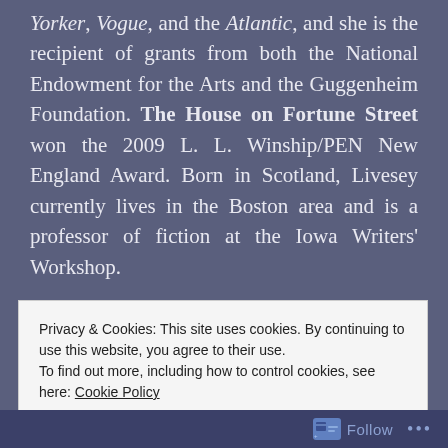Yorker, Vogue, and the Atlantic, and she is the recipient of grants from both the National Endowment for the Arts and the Guggenheim Foundation. The House on Fortune Street won the 2009 L. L. Winship/PEN New England Award. Born in Scotland, Livesey currently lives in the Boston area and is a professor of fiction at the Iowa Writers' Workshop.
Find out more about Margot at her website, and connect with her on Facebook and Twitter.
Privacy & Cookies: This site uses cookies. By continuing to use this website, you agree to their use.
To find out more, including how to control cookies, see here: Cookie Policy
Follow ...